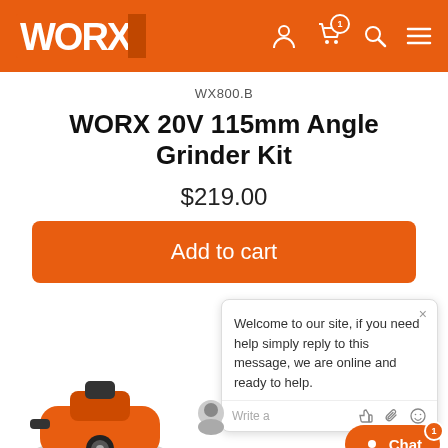[Figure (logo): WORX brand logo in white on orange header background, with navigation icons (person, cart with badge '1', search, menu)]
WX800.B
WORX 20V 115mm Angle Grinder Kit
$219.00
Add to cart
Welcome to our site, if you need help simply reply to this message, we are online and ready to help.
[Figure (photo): Partial view of WORX 20V 115mm Angle Grinder at bottom left of page]